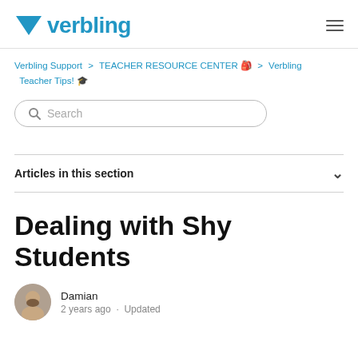verbling
Verbling Support > TEACHER RESOURCE CENTER 🎒 > Verbling Teacher Tips! 🎓
Search
Articles in this section
Dealing with Shy Students
Damian
2 years ago · Updated